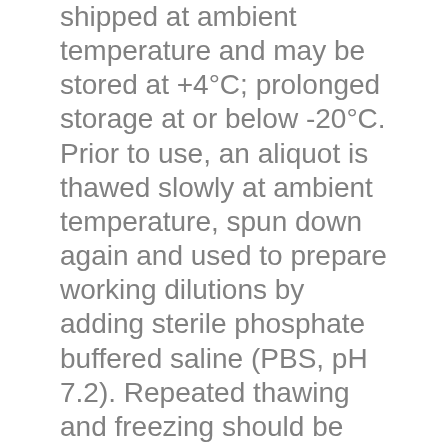shipped at ambient temperature and may be stored at +4°C; prolonged storage at or below -20°C. Prior to use, an aliquot is thawed slowly at ambient temperature, spun down again and used to prepare working dilutions by adding sterile phosphate buffered saline (PBS, pH 7.2). Repeated thawing and freezing should be avoided. Working dilutions should be stored at +4°C, not refrozen, and preferably used the same day. If a slight precipitation occurs upon storage, this should be